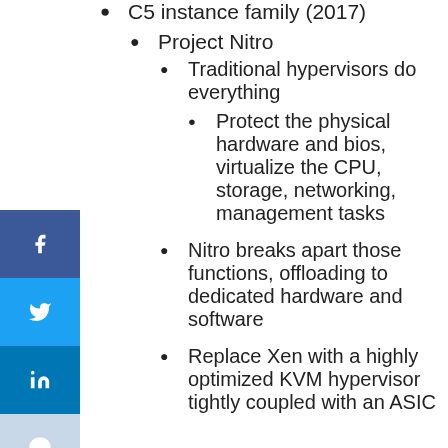C5 instance family (2017)
Project Nitro
Traditional hypervisors do everything
Protect the physical hardware and bios, virtualize the CPU, storage, networking, management tasks
Nitro breaks apart those functions, offloading to dedicated hardware and software
Replace Xen with a highly optimized KVM hypervisor tightly coupled with an ASIC